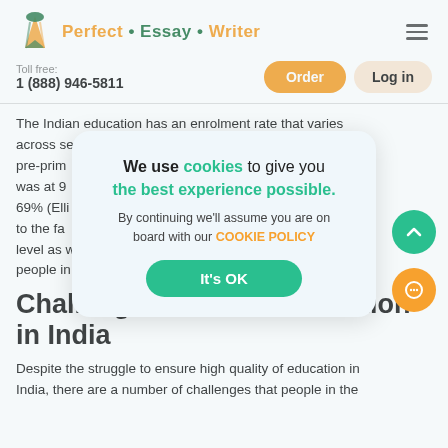Perfect • Essay • Writer
Toll free:
1 (888) 946-5811
The Indian education has an enrolment rate that varies across se... ate for pre-prim... tion was at 9... as 69% (Elli... tributed to the fa... this level as w... ny people in...
[Figure (screenshot): Cookie consent overlay dialog box with text: We use cookies to give you the best experience possible. By continuing we'll assume you are on board with our COOKIE POLICY. Button: It's OK]
Challenges of Basic Education in India
Despite the struggle to ensure high quality of education in India, there are a number of challenges that people in the